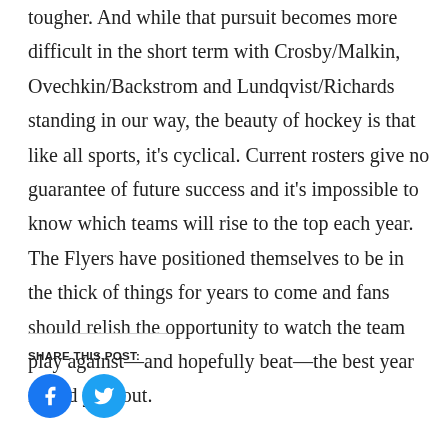From the Flyers standpoint, the path just gets immensely tougher. And while that pursuit becomes more difficult in the short term with Crosby/Malkin, Ovechkin/Backstrom and Lundqvist/Richards standing in our way, the beauty of hockey is that like all sports, it's cyclical. Current rosters give no guarantee of future success and it's impossible to know which teams will rise to the top each year. The Flyers have positioned themselves to be in the thick of things for years to come and fans should relish the opportunity to watch the team play against—and hopefully beat—the best year in and year out.
SHARE THIS POST:
[Figure (other): Facebook and Twitter social share icon buttons (blue circles with white icons)]